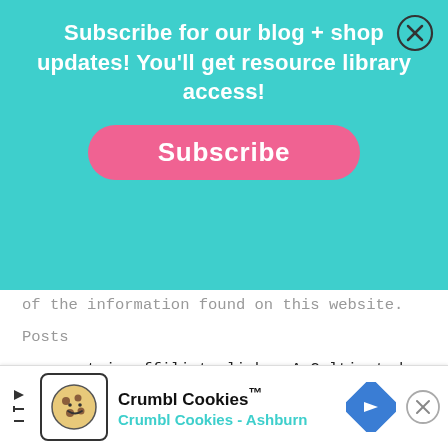[Figure (screenshot): Teal popup banner with white bold text: 'Subscribe for our blog + shop updates! You'll get resource library access!' and a pink rounded Subscribe button. Black circle X close button in top-right corner.]
of the information found on this website. Posts may contain affiliate links. A Cultivated Nest is a participant in the Amazon Services LLC Associates Program, an affiliate advertising program designed to provide a means for sites to earn advertising fees by advertising and linking to Amazon.com. A Cultivated Nest is also a participant in the Etsy affiliate program via Awin. This means that I may earn a small com... pos...
[Figure (screenshot): Advertisement banner at bottom: Crumbl Cookies logo with cartoon cookie icon, text 'Crumbl Cookies™' and 'Crumbl Cookies - Ashburn' in teal, blue diamond navigation arrow icon, X close button.]